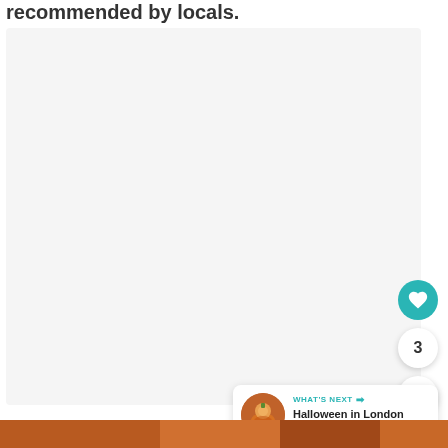recommended by locals.
[Figure (photo): Large light gray placeholder image area representing a map or photo content]
[Figure (illustration): Heart/like button (teal circle with heart icon), counter showing 3, share button (white circle with share icon)]
[Figure (screenshot): What's Next card showing thumbnail of child with pumpkin and text 'Halloween in London with...']
[Figure (photo): Bottom strip showing a warm orange-toned photo partially visible at the very bottom of the page]